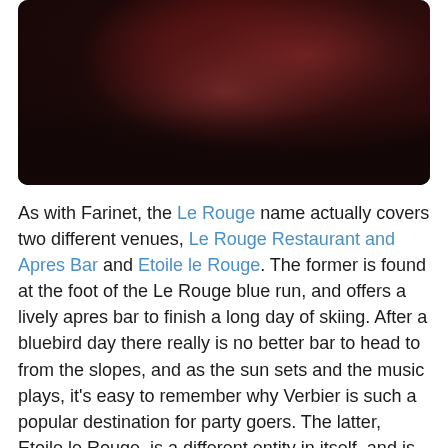[Figure (photo): Dark atmospheric photo with deep red and maroon gradient hues, blurred background suggesting a nightclub or bar interior]
As with Farinet, the Le Rouge name actually covers two different venues, Le Rouge Restaurant and Apres Bar and Etoile le Rouge. The former is found at the foot of the Le Rouge blue run, and offers a lively apres bar to finish a long day of skiing. After a bluebird day there really is no better bar to head to from the slopes, and as the sun sets and the music plays, it's easy to remember why Verbier is such a popular destination for party goers. The latter, Etoile le Rouge, is a different entity in itself, and is another exciting nightclub to rival Farinet South. Enter through the big red doors and head down the stairs into the spectacular underground club, and you'll easily lose track